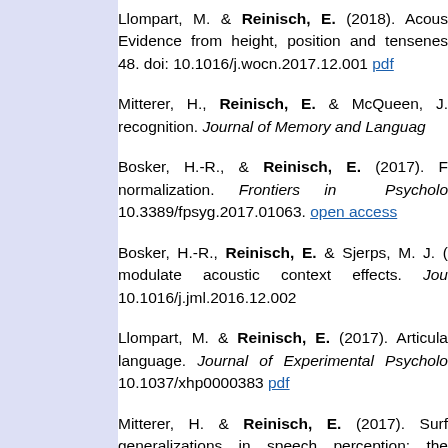Llompart, M. & Reinisch, E. (2018). Acoustic Evidence from height, position and tenseness. 48. doi: 10.1016/j.wocn.2017.12.001 pdf
Mitterer, H., Reinisch, E. & McQueen, J. recognition. Journal of Memory and Language
Bosker, H.-R., & Reinisch, E. (2017). F normalization. Frontiers in Psychology 10.3389/fpsyg.2017.01063. open access
Bosker, H.-R., Reinisch, E. & Sjerps, M. J. ( modulate acoustic context effects. Journal 10.1016/j.jml.2016.12.002
Llompart, M. & Reinisch, E. (2017). Articula language. Journal of Experimental Psychology 10.1037/xhp0000383 pdf
Mitterer, H. & Reinisch, E. (2017). Surf generalizations in speech perception: the d Neuroscience, 32. 1133-1147. doi: 10.1080/2